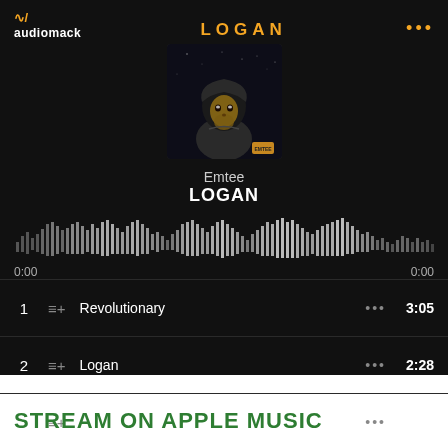[Figure (screenshot): Audiomack music player app screenshot showing the LOGAN album by Emtee with a tracklist including Revolutionary (3:05), Logan (2:28), Long Way (4:41), and Pressure (4:43), along with album art showing a hooded child figure and a waveform player bar]
STREAM ON APPLE MUSIC